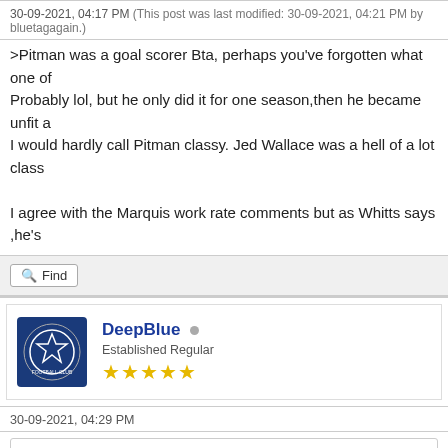30-09-2021, 04:17 PM (This post was last modified: 30-09-2021, 04:21 PM by bluetagagain.)
>Pitman was a goal scorer Bta, perhaps you've forgotten what one of Probably lol, but he only did it for one season,then he became unfit a I would hardly call Pitman classy. Jed Wallace was a hell of a lot class
I agree with the Marquis work rate comments but as Whitts says ,he's
Find
DeepBlue
Established Regular
★★★★★
30-09-2021, 04:29 PM
Hammie Wrote: Yep. Whittingham regularly commented on his being everywhere on yard box, he hardly gets any from that range.